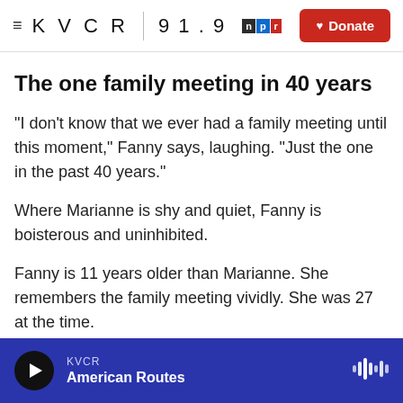≡ KVCR 91.9 npr Donate
The one family meeting in 40 years
"I don't know that we ever had a family meeting until this moment," Fanny says, laughing. "Just the one in the past 40 years."
Where Marianne is shy and quiet, Fanny is boisterous and uninhibited.
Fanny is 11 years older than Marianne. She remembers the family meeting vividly. She was 27 at the time.
KVCR American Routes